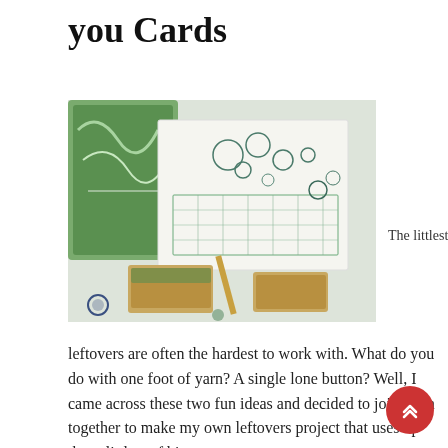you Cards
[Figure (photo): A crafting scene showing handmade cards with circular stamp patterns on white paper, with green-painted wooden blocks/stamp tools on a white surface]
The littlest of
leftovers are often the hardest to work with. What do you do with one foot of yarn? A single lone button? Well, I came across these two fun ideas and decided to join them together to make my own leftovers project that uses up those littlest of bits.
I still owe some family members thank you cards from my birthday in April so these will be going into the mail